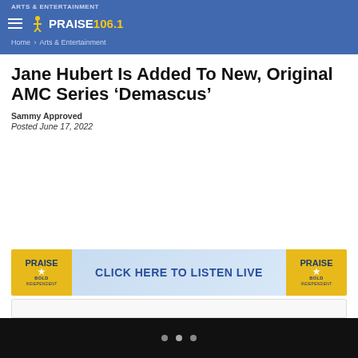ARTS & ENTERTAINMENT
[Figure (logo): Praise 106.1 radio station logo with hamburger menu icon and star figure]
Home > Arts & Entertainment
Jane Hubert Is Added To New, Original AMC Series ‘Demascus’
Sammy Approved
Posted June 17, 2022
[Figure (infographic): Praise 106.1 advertisement banner: CLICK HERE TO LISTEN LIVE]
[Figure (other): Widget box / content placeholder at bottom]